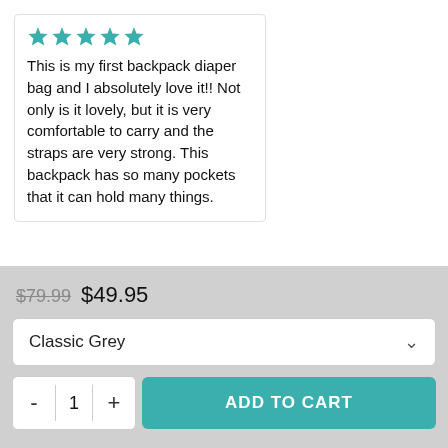[Figure (photo): Five teal star rating icons]
This is my first backpack diaper bag and I absolutely love it!! Not only is it lovely, but it is very comfortable to carry and the straps are very strong. This backpack has so many pockets that it can hold many things.
[Figure (photo): Photo of grey and white striped bedding/fabric]
[Figure (photo): Photo of white and red/pink clothing on a hanger]
E n
[Figure (photo): Five teal star rating icons]
LOVE this diaper backpack!!! So many compartments! I ordered this basically for my husband because the first diaper backpack I ordered was still too girly.. it also didn't have near as many pockets/compartments/coo
$79.99  $49.95
Classic Grey
- 1 +
ADD TO CART